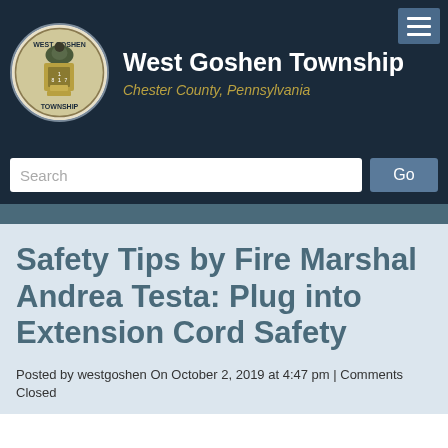[Figure (logo): West Goshen Township circular seal/logo with eagle and shield]
West Goshen Township
Chester County, Pennsylvania
[Figure (other): Hamburger menu button with three horizontal lines]
Search
Go
Safety Tips by Fire Marshal Andrea Testa: Plug into Extension Cord Safety
Posted by westgoshen On October 2, 2019 at 4:47 pm | Comments Closed